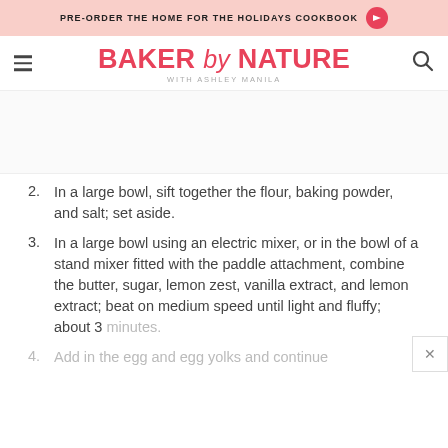PRE-ORDER THE HOME FOR THE HOLIDAYS COOKBOOK →
BAKER by NATURE WITH ASHLEY MANILA
[Figure (other): Blank white image area (partially cropped photo placeholder)]
2. In a large bowl, sift together the flour, baking powder, and salt; set aside.
3. In a large bowl using an electric mixer, or in the bowl of a stand mixer fitted with the paddle attachment, combine the butter, sugar, lemon zest, vanilla extract, and lemon extract; beat on medium speed until light and fluffy; about 3 minutes.
4. Add in the egg and egg yolks and continue